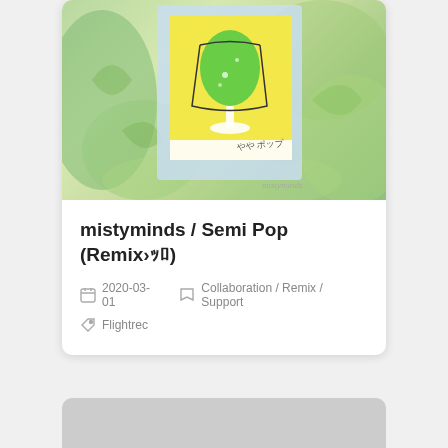[Figure (illustration): Album artwork for mistyminds / Semi Pop (Remix). Shows a stylized illustration of a green drink in a wine glass on a yellow card with Japanese text, overlaid on a light blue polaroid-style frame, set against a green watercolor background. The text 'mistyminds' appears as a watermark in the lower right.]
mistyminds / Semi Pop (Remixé¶¯é¶¯)
2020-03-01
Collaboration / Remix / Support
Flightrec